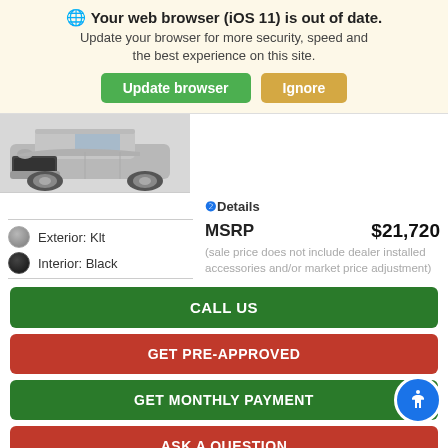Your web browser (iOS 11) is out of date. Update your browser for more security, speed and the best experience on this site.
[Figure (screenshot): Browser update notification banner with Update browser (green) and Ignore (tan/gold) buttons]
[Figure (photo): Partial front view of a silver SUV/crossover vehicle]
Details
Exterior: Klt
Interior: Black
MSRP   $21,720
(sale price does not include dealer installed accessories and/or market price adjustment)
CALL US
GET PRE-APPROVED
GET MONTHLY PAYMENT
ASK A QUESTION